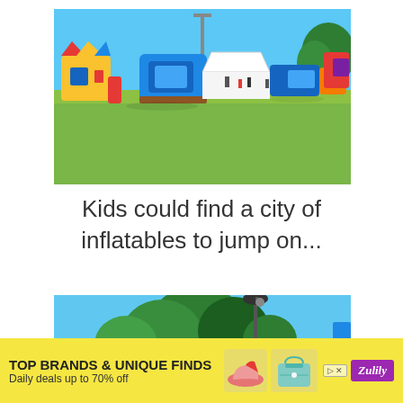[Figure (photo): Outdoor field with colorful inflatable bounce houses and obstacle courses lined up on green grass under a clear blue sky. Includes a yellow and red castle inflatable, a large blue square inflatable, a white tent, and blue/orange obstacle courses. People visible in the background.]
Kids could find a city of inflatables to jump on...
[Figure (photo): Outdoor scene with green trees, a lamp post, and a blue sky with a white tent or canopy visible. The image is partially obscured by an advertisement banner at the bottom.]
[Figure (infographic): Advertisement banner for Zulily: 'TOP BRANDS & UNIQUE FINDS — Daily deals up to 70% off' with images of shoes and a handbag, and the Zulily logo in purple.]